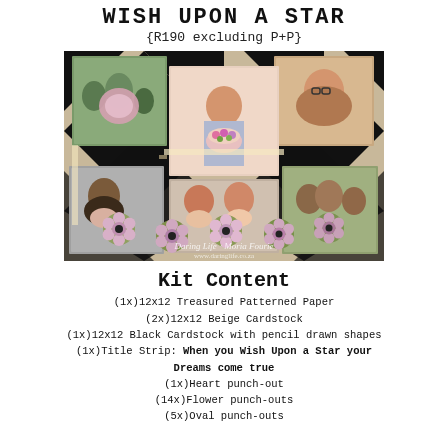WISH UPON A STAR
{R190 excluding P+P}
[Figure (photo): Scrapbook layout photo showing multiple photographs of women holding cakes arranged on a black and cream patterned background with flower punch-outs]
Kit Content
(1x)12x12 Treasured Patterned Paper
(2x)12x12 Beige Cardstock
(1x)12x12 Black Cardstock with pencil drawn shapes
(1x)Title Strip: When you Wish Upon a Star your Dreams come true
(1x)Heart punch-out
(14x)Flower punch-outs
(5x)Oval punch-outs